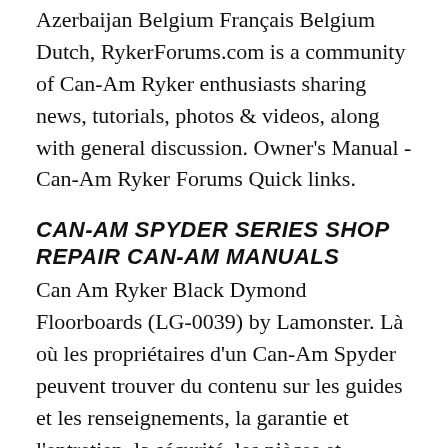Azerbaijan Belgium Français Belgium Dutch, RykerForums.com is a community of Can-Am Ryker enthusiasts sharing news, tutorials, photos & videos, along with general discussion. Owner's Manual - Can-Am Ryker Forums Quick links.
CAN-AM SPYDER SERIES SHOP REPAIR CAN-AM MANUALS
Can Am Ryker Black Dymond Floorboards (LG-0039) by Lamonster. Là où les propriétaires d'un Can-Am Spyder peuvent trouver du contenu sur les guides et les renseignements, la garantie et l'entretien, la sécurité, les pièces et ..., 09/09/2018 · On-Road. All-Road. The decision is yours. The 2019 Can-Am Ryker Rally Edition is built to go from city to gritty. Got the inside